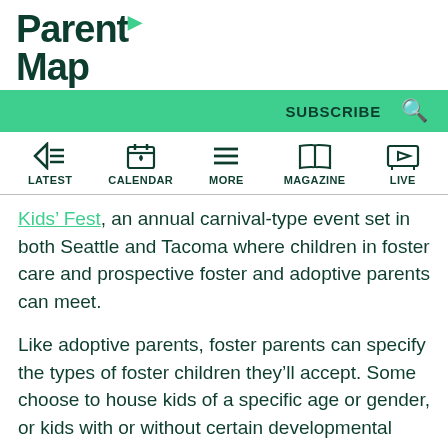ParentMap
SUBSCRIBE
LATEST CALENDAR MORE MAGAZINE LIVE
Kids' Fest, an annual carnival-type event set in both Seattle and Tacoma where children in foster care and prospective foster and adoptive parents can meet.
Like adoptive parents, foster parents can specify the types of foster children they'll accept. Some choose to house kids of a specific age or gender, or kids with or without certain developmental disabilities, says Thompson.